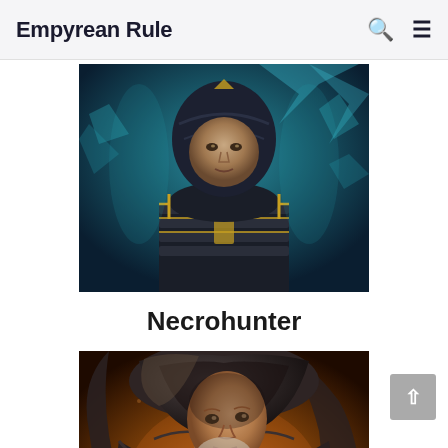Empyrean Rule
[Figure (illustration): Fantasy character portrait of the Necrohunter — a warrior in dark segmented armor with gold trim, face partially visible under a helm, surrounded by a teal/blue mystical background with jagged shapes.]
Necrohunter
[Figure (illustration): Fantasy character portrait of the Outlaw — an older man with white stubble wearing a dark hooded cloak, set against a warm orange/brown background.]
Outlaw